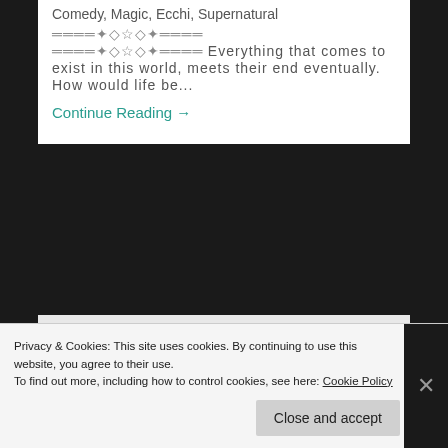Comedy, Magic, Ecchi, Supernatural
════✦◇☆◇✦════
════✦◇☆◇✦════ Everything that comes to exist in this world, meets their end eventually. How would life be...
Continue Reading →
20 Jul 2018   0
High School Fleet
Privacy & Cookies: This site uses cookies. By continuing to use this website, you agree to their use.
To find out more, including how to control cookies, see here: Cookie Policy
Close and accept